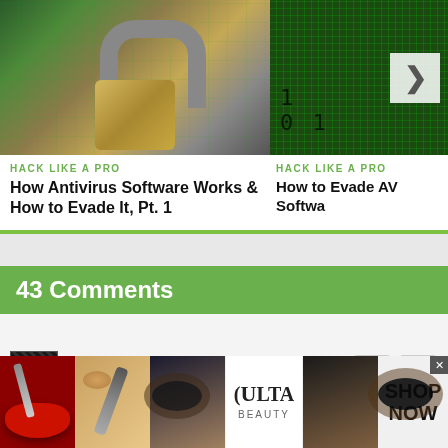[Figure (photo): Circuit board with a padlock on it]
HACK LIKE A PRO
How Antivirus Software Works & How to Evade It, Pt. 1
[Figure (screenshot): Green binary/matrix-style image with chevron right arrow]
HACK LIKE A PRO
How to Evade AV Softwa
43 Comments
WINTER DRAWLACE
7 YEARS AGO
[Figure (photo): ULTA Beauty advertisement banner with makeup/beauty images]